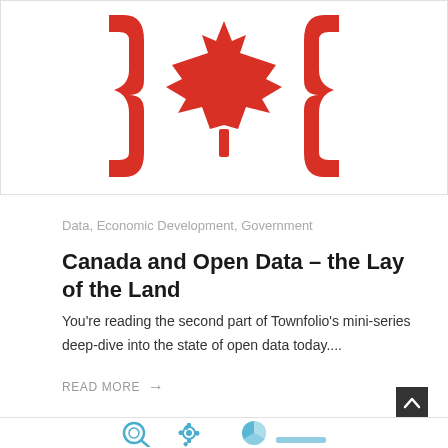[Figure (logo): Red logo featuring a Canadian maple leaf in the center flanked by two red curly brace symbols on a white background]
Data, Economic Development, Government
Canada and Open Data – the Lay of the Land
You're reading the second part of Townfolio's mini-series deep-dive into the state of open data today....
READ MORE →
[Figure (illustration): Bottom strip with small blue icons including a magnifying glass, gear/settings icon, and pie chart icon]